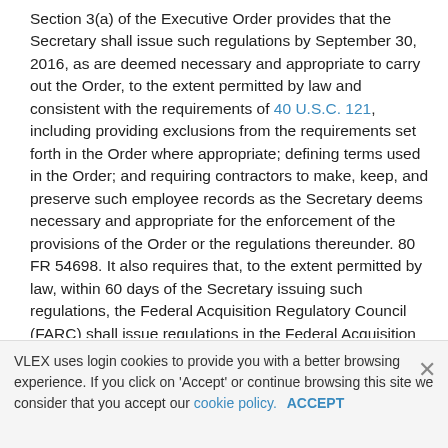Section 3(a) of the Executive Order provides that the Secretary shall issue such regulations by September 30, 2016, as are deemed necessary and appropriate to carry out the Order, to the extent permitted by law and consistent with the requirements of 40 U.S.C. 121, including providing exclusions from the requirements set forth in the Order where appropriate; defining terms used in the Order; and requiring contractors to make, keep, and preserve such employee records as the Secretary deems necessary and appropriate for the enforcement of the provisions of the Order or the regulations thereunder. 80 FR 54698. It also requires that, to the extent permitted by law, within 60 days of the Secretary issuing such regulations, the Federal Acquisition Regulatory Council (FARC) shall issue regulations in the Federal Acquisition
VLEX uses login cookies to provide you with a better browsing experience. If you click on 'Accept' or continue browsing this site we consider that you accept our cookie policy. ACCEPT